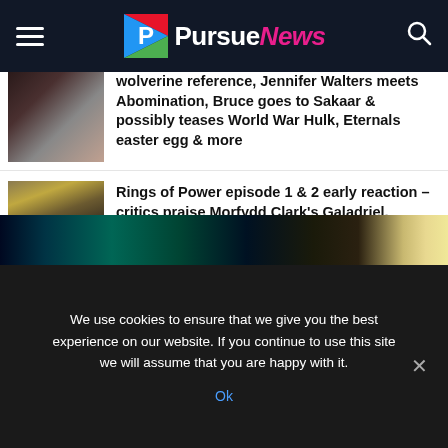PursueNews
Wolverine reference, Jennifer Walters meets Abomination, Bruce goes to Sakaar & possibly teases World War Hulk, Eternals easter egg & more
Rings of Power episode 1 & 2 early reaction – critics praise Morfydd Clark's Galadriel, Middle-Earth scenes, calls it a worthy follow-up to Jackson's LOTR trilogy
[Figure (photo): Advertisement banner strip with teal and golden gradient]
We use cookies to ensure that we give you the best experience on our website. If you continue to use this site we will assume that you are happy with it.